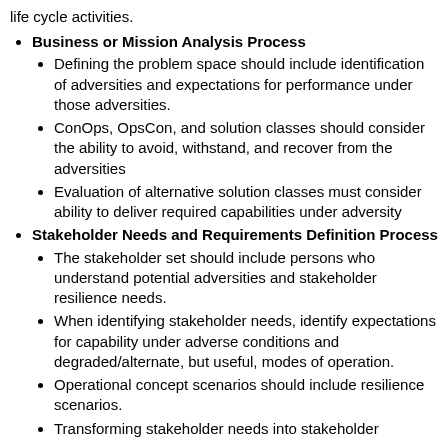life cycle activities.
Business or Mission Analysis Process
Defining the problem space should include identification of adversities and expectations for performance under those adversities.
ConOps, OpsCon, and solution classes should consider the ability to avoid, withstand, and recover from the adversities
Evaluation of alternative solution classes must consider ability to deliver required capabilities under adversity
Stakeholder Needs and Requirements Definition Process
The stakeholder set should include persons who understand potential adversities and stakeholder resilience needs.
When identifying stakeholder needs, identify expectations for capability under adverse conditions and degraded/alternate, but useful, modes of operation.
Operational concept scenarios should include resilience scenarios.
Transforming stakeholder needs into stakeholder